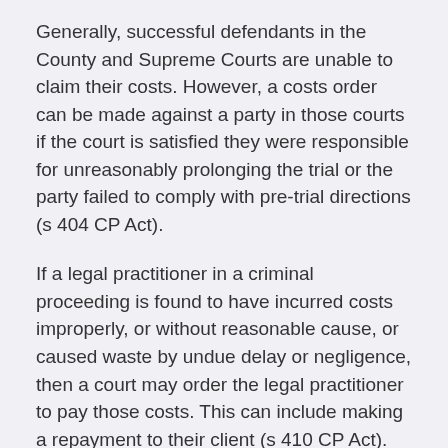Generally, successful defendants in the County and Supreme Courts are unable to claim their costs. However, a costs order can be made against a party in those courts if the court is satisfied they were responsible for unreasonably prolonging the trial or the party failed to comply with pre-trial directions (s 404 CP Act).
If a legal practitioner in a criminal proceeding is found to have incurred costs improperly, or without reasonable cause, or caused waste by undue delay or negligence, then a court may order the legal practitioner to pay those costs. This can include making a repayment to their client (s 410 CP Act).